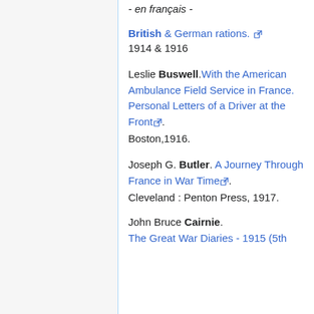- en français -
British & German rations. [ext link]
1914 & 1916
Leslie Buswell. With the American Ambulance Field Service in France. Personal Letters of a Driver at the Front [ext link].
Boston,1916.
Joseph G. Butler. A Journey Through France in War Time [ext link].
Cleveland : Penton Press, 1917.
John Bruce Cairnie.
The Great War Diaries - 1915 (5th ...